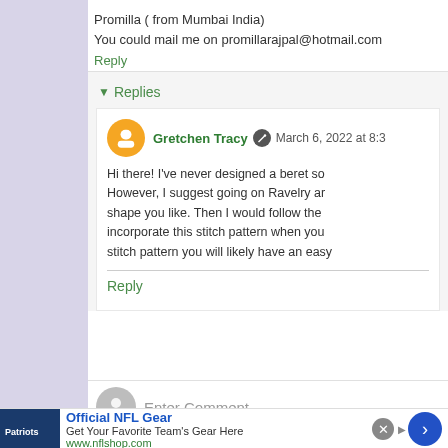Promilla ( from Mumbai India)
You could mail me on promillarajpal@hotmail.com
Reply
Replies
Gretchen Tracy  March 6, 2022 at 8:3
Hi there! I've never designed a beret so However, I suggest going on Ravelry and shape you like. Then I would follow the incorporate this stitch pattern when you stitch pattern you will likely have an easy
Reply
Enter Comment
Official NFL Gear
Get Your Favorite Team's Gear Here
www.nflshop.com